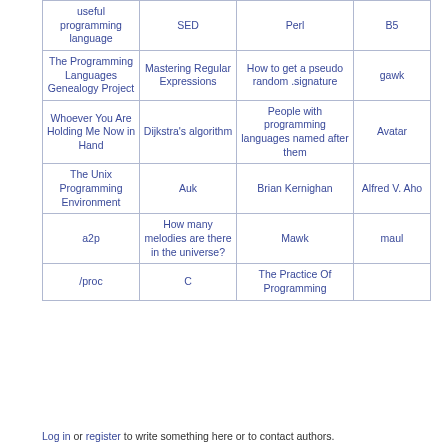| useful programming language | SED | Perl | B5 |
| The Programming Languages Genealogy Project | Mastering Regular Expressions | How to get a pseudo random .signature | gawk |
| Whoever You Are Holding Me Now in Hand | Dijkstra's algorithm | People with programming languages named after them | Avatar |
| The Unix Programming Environment | Auk | Brian Kernighan | Alfred V. Aho |
| a2p | How many melodies are there in the universe? | Mawk | maul |
| /proc | C | The Practice Of Programming |  |
Log in or register to write something here or to contact authors.